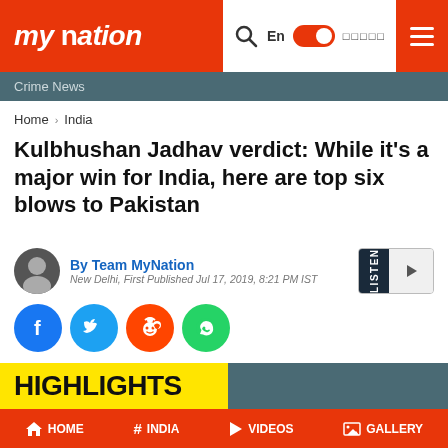my nation | En | हिंदी | ☰
Crime News
Home > India
Kulbhushan Jadhav verdict: While it's a major win for India, here are top six blows to Pakistan
By Team MyNation
New Delhi, First Published Jul 17, 2019, 8:21 PM IST
[Figure (infographic): Social share icons: Facebook, Twitter, Reddit, WhatsApp]
HIGHLIGHTS
HOME | # INDIA | ▶ VIDEOS | 🖼 GALLERY